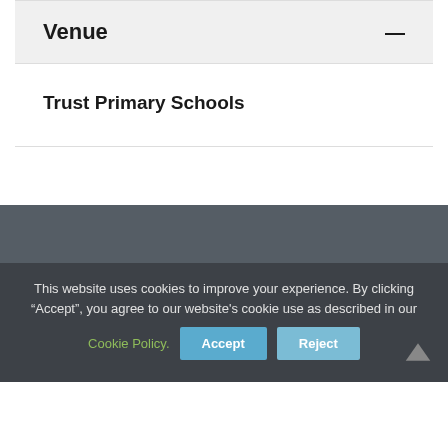Venue
Trust Primary Schools
This website uses cookies to improve your experience. By clicking "Accept", you agree to our website's cookie use as described in our Cookie Policy.